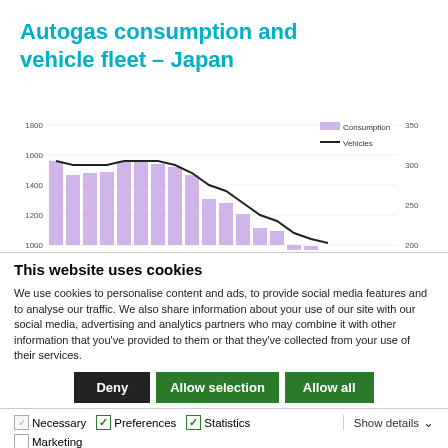Autogas consumption and vehicle fleet – Japan
[Figure (bar-chart): Bar and line chart showing consumption (purple bars, left axis 1000-1800) and vehicles (black line, right axis 200-350) over multiple years]
This website uses cookies
We use cookies to personalise content and ads, to provide social media features and to analyse our traffic. We also share information about your use of our site with our social media, advertising and analytics partners who may combine it with other information that you've provided to them or that they've collected from your use of their services.
Deny | Allow selection | Allow all
Necessary  Preferences  Statistics  Marketing  Show details